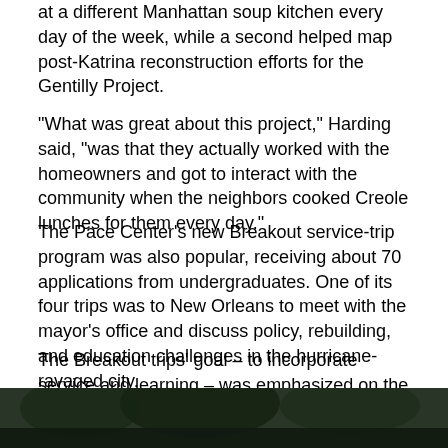at a different Manhattan soup kitchen every day of the week, while a second helped map post-Katrina reconstruction efforts for the Gentilly Project.
"What was great about this project," Harding said, "was that they actually worked with the homeowners and got to interact with the community when the neighbors cooked Creole lunches for them every day."
The Pace Center's new Breakout service-trip program was also popular, receiving about 70 applications from undergraduates. One of its four trips was to New Orleans to meet with the mayor’s office and discuss policy, rebuilding, and education challenges in the hurricane-ravaged city.
The Breakout trips’ goal – to incorporate service and learning – was emphasized on the trip to Los Angeles, where students visited detention centers and toured Skid Row. At the end of the week, they presented their experiences to the Princeton Club of Southern California.
[Figure (photo): Dark photo strip at the bottom of the page, appears to show foliage or outdoor scene.]